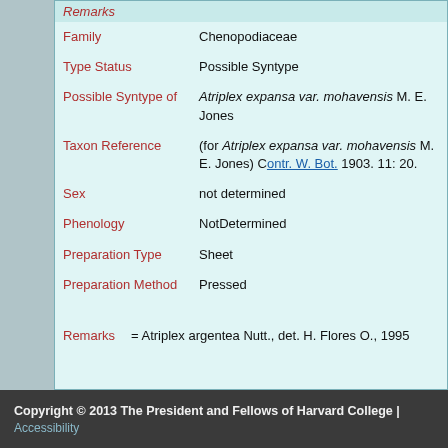| Remarks |  |
| Family | Chenopodiaceae |
| Type Status | Possible Syntype |
| Possible Syntype of | Atriplex expansa var. mohavensis M. E. Jones |
| Taxon Reference | (for Atriplex expansa var. mohavensis M. E. Jones) Contr. W. Bot. 1903. 11: 20. |
| Sex | not determined |
| Phenology | NotDetermined |
| Preparation Type | Sheet |
| Preparation Method | Pressed |
Remarks    = Atriplex argentea Nutt., det. H. Flores O., 1995
Copyright © 2013 The President and Fellows of Harvard College | Accessibility